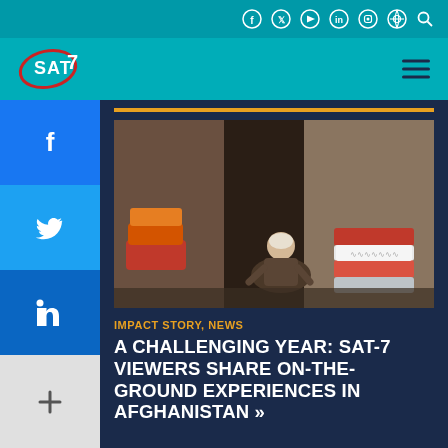SAT7 website header with social media icons (Facebook, Twitter, YouTube, LinkedIn, Instagram, Search) and SAT7 logo with navigation
[Figure (photo): A man in traditional Afghan clothing sitting cross-legged on the floor of a shop or dwelling, surrounded by colorful stacked cushions, blankets and textiles, with a dark stone wall and doorway in the background]
IMPACT STORY, NEWS
A CHALLENGING YEAR: SAT-7 VIEWERS SHARE ON-THE-GROUND EXPERIENCES IN AFGHANISTAN »